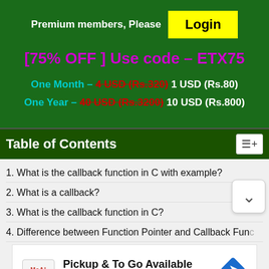Premium members, Please Login
[75% OFF ] Use code – ETX75
One Month – 4 USD (Rs.320) 1 USD (Rs.80)
One Year – 40 USD (Rs.3200) 10 USD (Rs.800)
Table of Contents
1. What is the callback function in C with example?
2. What is a callback?
3. What is the callback function in C?
4. Difference between Function Pointer and Callback Func…
[Figure (infographic): McAlister's Deli advertisement: Pickup & To Go Available]